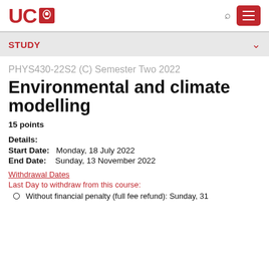UC [logo]
STUDY
PHYS430-22S2 (C) Semester Two 2022
Environmental and climate modelling
15 points
Details:
Start Date: Monday, 18 July 2022
End Date: Sunday, 13 November 2022
Withdrawal Dates
Last Day to withdraw from this course:
Without financial penalty (full fee refund): Sunday, 31